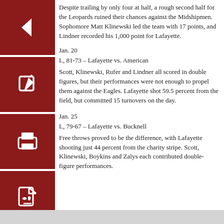Despite trailing by only four at half, a rough second half for the Leopards ruined their chances against the Midshipmen. Sophomore Matt Klinewski led the team with 17 points, and Lindner recorded his 1,000 point for Lafayette.
Jan. 20
L, 81-73 – Lafayette vs. American
Scott, Klinewski, Rufer and Lindner all scored in double figures, but their performances were not enough to propel them against the Eagles. Lafayette shot 59.5 percent from the field, but committed 15 turnovers on the day.
Jan. 25
L, 79-67 – Lafayette vs. Bucknell
Free throws proved to be the difference, with Lafayette shooting just 44 percent from the charity stripe. Scott, Klinewski, Boykins and Zalys each contributed double-figure performances.